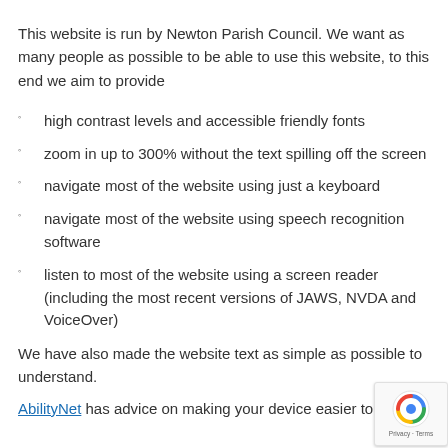This website is run by Newton Parish Council. We want as many people as possible to be able to use this website, to this end we aim to provide
high contrast levels and accessible friendly fonts
zoom in up to 300% without the text spilling off the screen
navigate most of the website using just a keyboard
navigate most of the website using speech recognition software
listen to most of the website using a screen reader (including the most recent versions of JAWS, NVDA and VoiceOver)
We have also made the website text as simple as possible to understand.
AbilityNet has advice on making your device easier to use if